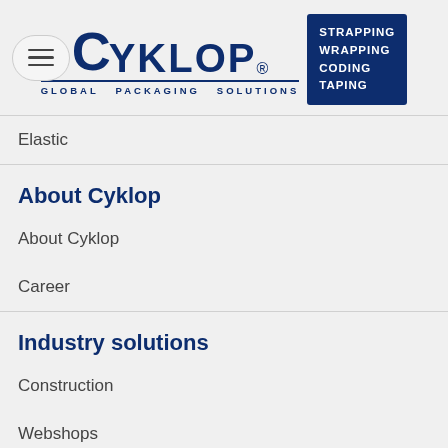[Figure (logo): Cyklop logo with hamburger menu icon. Logo shows CYKLOP text in dark navy bold font with 'GLOBAL PACKAGING SOLUTIONS' tagline underneath, and a dark navy badge reading 'STRAPPING WRAPPING CODING TAPING'.]
Elastic
About Cyklop
About Cyklop
Career
Industry solutions
Construction
Webshops
Logistics
Cardboard